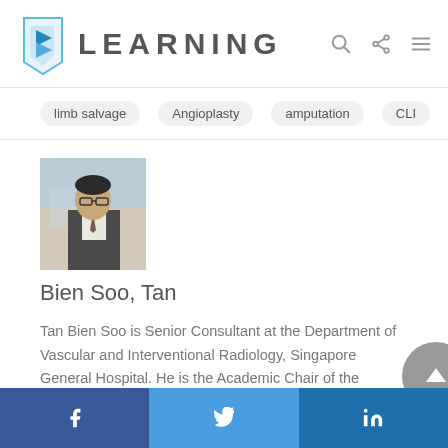B LEARNING
limb salvage
Angioplasty
amputation
CLI
[Figure (photo): Profile photo of Bien Soo, Tan — man in suit outdoors with blurred background]
Bien Soo, Tan
Tan Bien Soo is Senior Consultant at the Department of Vascular and Interventional Radiology, Singapore General Hospital. He is the Academic Chair of the Radiological Sciences Academic Clinical Programme at the SingHealth Duke-NUS Academic Centre and the Chair of the
f  Twitter  in